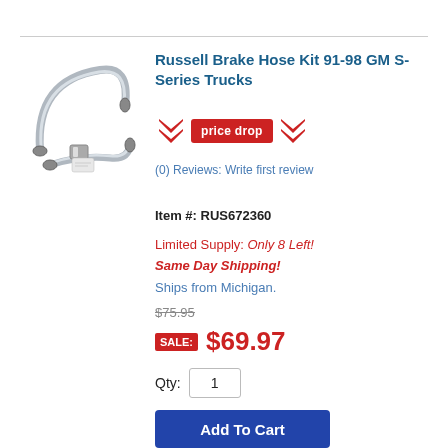[Figure (photo): Product photo of brake hose kit showing braided stainless steel brake hoses]
Russell Brake Hose Kit 91-98 GM S-Series Trucks
[Figure (infographic): Price drop badge with red chevrons and red price drop button]
(0) Reviews: Write first review
Item #: RUS672360
Limited Supply: Only 8 Left!
Same Day Shipping!
Ships from Michigan.
$75.95
SALE: $69.97
Qty: 1
Add To Cart